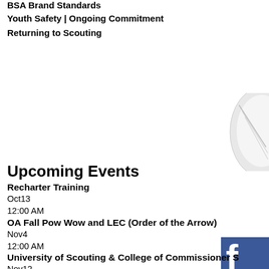BSA Brand Standards
Youth Safety | Ongoing Commitment
Returning to Scouting
[Figure (illustration): Partial white/grey decorative graphic element visible at top right edge of page]
[Figure (logo): Facebook logo/button partial view at right edge]
Upcoming Events
Recharter Training
Oct13
12:00 AM
OA Fall Pow Wow and LEC (Order of the Arrow)
Nov4
12:00 AM
University of Scouting & College of Commissioner S
Nov12
8:00 AM